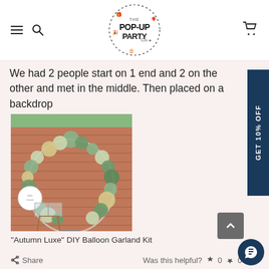The Pop-Up Party Co. — navigation header with hamburger menu, search, logo, and cart icons
We had 2 people start on 1 end and 2 on the other and met in the middle. Then placed on a backdrop
[Figure (photo): Photo of a balloon garland arch with green, white, and gold balloons arranged on a circular hoop stand against a brick wall backdrop, with clear letter boxes on a wooden stand beside it.]
"Autumn Luxe" DIY Balloon Garland Kit
Share   Was this helpful?  👍 0  👎 0
Mercythee K.   Verified Buyer   13/08/2022